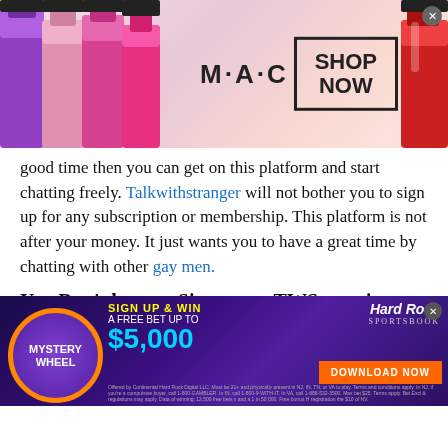[Figure (advertisement): MAC cosmetics advertisement banner showing lipsticks on left and right, MAC logo in center, SHOP NOW button in bordered box, close X button top right]
good time then you can get on this platform and start chatting freely. Talkwithstranger will not bother you to sign up for any subscription or membership. This platform is not after your money. It just wants you to have a great time by chatting with other gay men.
You Don't have to Sign up on TWS to enjoy gay chat
Some people are not disclosing their identities. They are looking for that one platform where they can chat
[Figure (advertisement): Hard Rock Sportsbook Mystery Wheel advertisement. Sign up and win a free bet up to $5,000. Download Now button. Dark purple background with neon colors.]